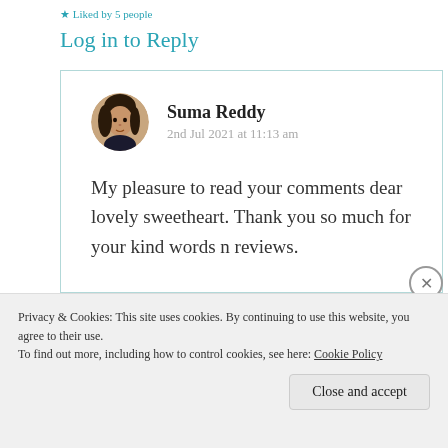Liked by 5 people
Log in to Reply
Suma Reddy
2nd Jul 2021 at 11:13 am
[Figure (photo): Round avatar photo of Suma Reddy, a woman with dark hair]
My pleasure to read your comments dear lovely sweetheart. Thank you so much for your kind words n reviews.
Privacy & Cookies: This site uses cookies. By continuing to use this website, you agree to their use.
To find out more, including how to control cookies, see here: Cookie Policy
Close and accept